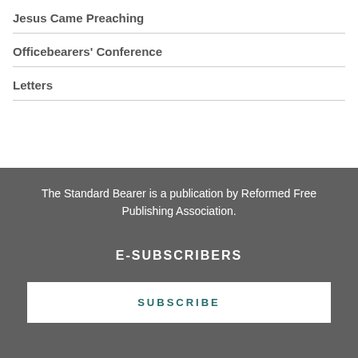Jesus Came Preaching
Officebearers' Conference
Letters
The Standard Bearer is a publication by Reformed Free Publishing Association.
E-SUBSCRIBERS
SUBSCRIBE